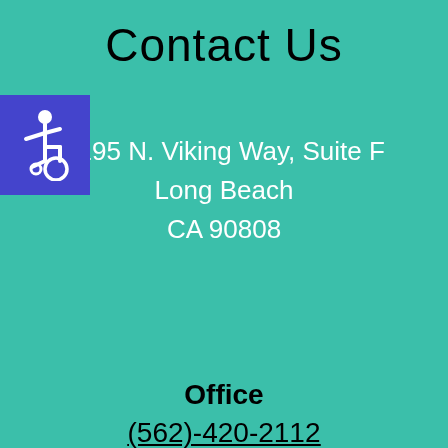Contact Us
[Figure (illustration): Blue square with white wheelchair accessibility symbol (ISA icon)]
4195 N. Viking Way, Suite F
Long Beach
CA 90808
Office
(562)-420-2112
Fax